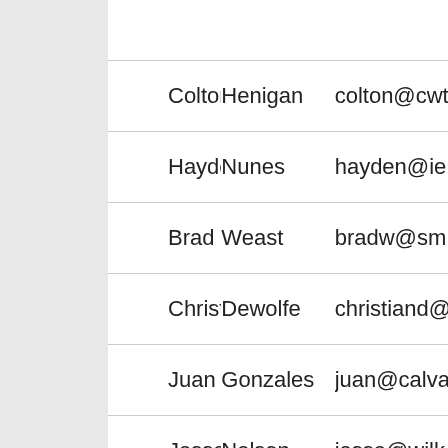| First Name | Last Name | Email |
| --- | --- | --- |
| Colton | Henigan | colton@cw... |
| Hayden | Nunes | hayden@ie... |
| Brad | Weast | bradw@sm... |
| Christian | Dewolfe | christiand@... |
| Juan | Gonzales | juan@calva... |
| Jesse | Nelson | jesse@wilk... |
| Andrew | Proft | andyproft@... |